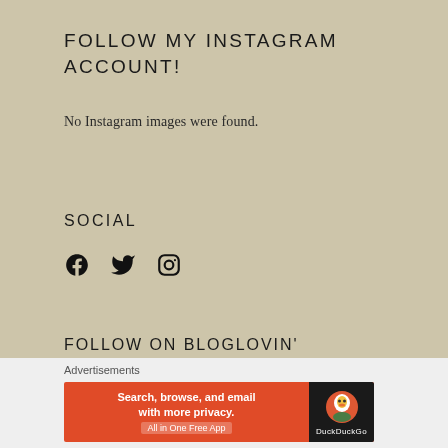FOLLOW MY INSTAGRAM ACCOUNT!
No Instagram images were found.
SOCIAL
[Figure (other): Social media icons: Facebook, Twitter, Instagram]
FOLLOW ON BLOGLOVIN'
Advertisements
[Figure (other): DuckDuckGo advertisement banner: Search, browse, and email with more privacy. All in One Free App]